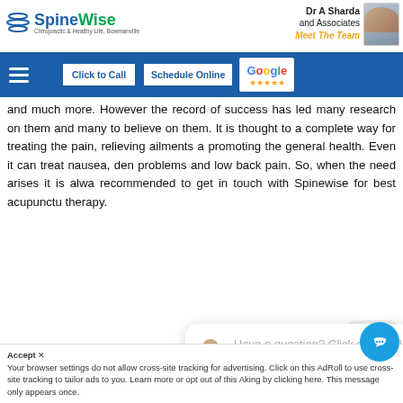SpineWise — Dr A Sharda and Associates — Meet The Team
and much more. However the record of success has led many research on them and many to believe on them. It is thought to a complete way for treating the pain, relieving ailments a promoting the general health. Even it can treat nausea, den problems and low back pain. So, when the need arises it is alwa recommended to get in touch with Spinewise for best acupunctu therapy.
close
/ January 6, acupuncture Bowmanville
Have a question? Click and we'll send you a special just for asking!
Accept
Your browser settings do not allow cross-site tracking for advertising. Click on this AdRoll to use cross-site tracking to tailor ads to you. Learn more or opt out of this A king by clicking here. This message only appears once.